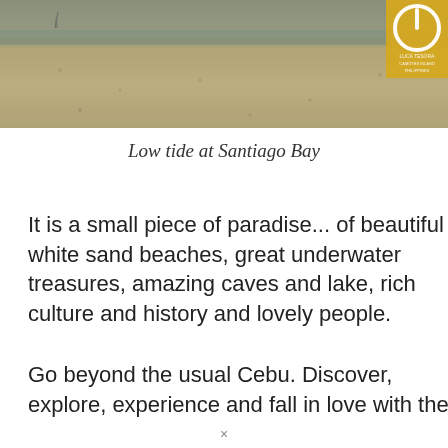[Figure (photo): Beach scene at low tide — sandy beach with water, yellowish-sandy tones, with a circular logo (yellow/gold with white power icon) in the top-right corner]
Low tide at Santiago Bay
It is a small piece of paradise... of beautiful white sand beaches, great underwater treasures, amazing caves and lake, rich culture and history and lovely people.
Go beyond the usual Cebu. Discover, explore, experience and fall in love with the